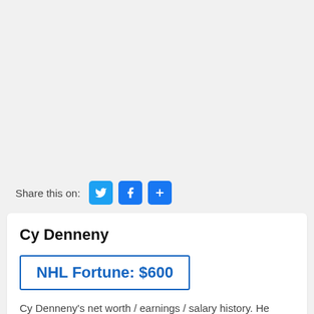Share this on:
Cy Denneny
NHL Fortune: $600
Cy Denneny's net worth / earnings / salary history. He made US $600 (US $14,879 in today's dollars), ranking #5757 in NHL / hockey career earnings.